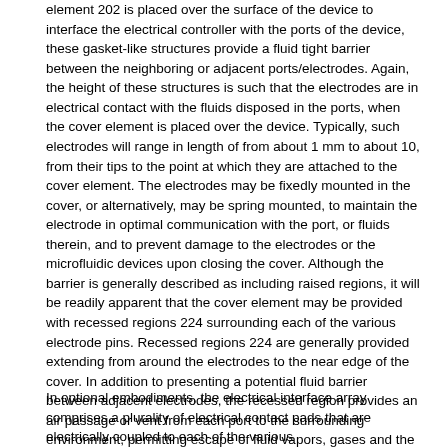element 202 is placed over the surface of the device to interface the electrical controller with the ports of the device, these gasket-like structures provide a fluid tight barrier between the neighboring or adjacent ports/electrodes. Again, the height of these structures is such that the electrodes are in electrical contact with the fluids disposed in the ports, when the cover element is placed over the device. Typically, such electrodes will range in length of from about 1 mm to about 10, from their tips to the point at which they are attached to the cover element. The electrodes may be fixedly mounted in the cover, or alternatively, may be spring mounted, to maintain the electrode in optimal communication with the port, or fluids therein, and to prevent damage to the electrodes or the microfluidic devices upon closing the cover. Although the barrier is generally described as including raised regions, it will be readily apparent that the cover element may be provided with recessed regions 224 surrounding each of the various electrode pins. Recessed regions 224 are generally provided extending from around the electrodes to the near edge of the cover. In addition to presenting a potential fluid barrier between adjacent electrodes, the recessed region provides an air passage or vent from each port to the surrounding environment, permitting escape of fluid vapors, gases and the like, which can adversely effect the operation of the system, either through condensation, pressure effects or otherwise.
In optional embodiments, the electrical interface array comprises a plurality of electrical contact pads that are electrically coupled to each of the various